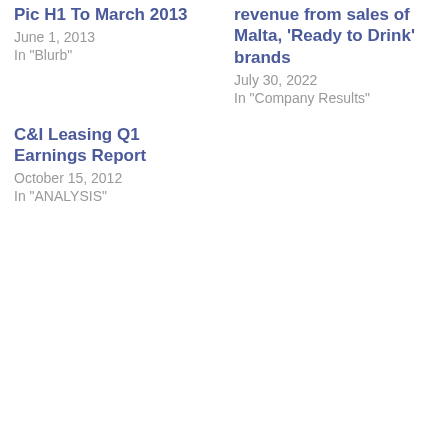Pic H1 To March 2013
June 1, 2013
In "Blurb"
revenue from sales of Malta, 'Ready to Drink' brands
July 30, 2022
In "Company Results"
C&I Leasing Q1 Earnings Report
October 15, 2012
In "ANALYSIS"